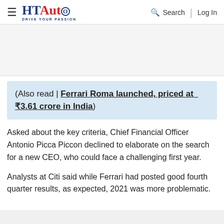HT Auto — Drive Your Passion | Search | Log In
[Figure (other): Advertisement area, light grey background]
(Also read | Ferrari Roma launched, priced at ₹3.61 crore in India)
Asked about the key criteria, Chief Financial Officer Antonio Picca Piccon declined to elaborate on the search for a new CEO, who could face a challenging first year.
Analysts at Citi said while Ferrari had posted good fourth quarter results, as expected, 2021 was more problematic.